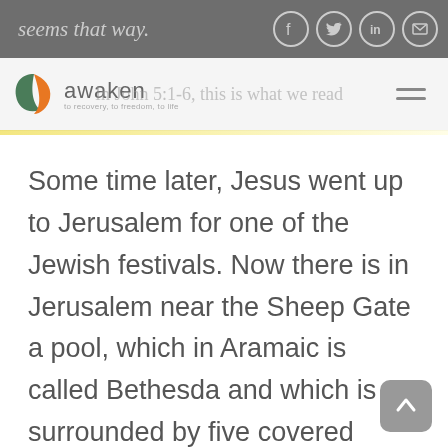seems that way.
[Figure (logo): Awaken logo with tagline 'to recovery, to freedom, to life']
In John 5:1-6, this is what we read
Some time later, Jesus went up to Jerusalem for one of the Jewish festivals. Now there is in Jerusalem near the Sheep Gate a pool, which in Aramaic is called Bethesda and which is surrounded by five covered colonnades. Here a great